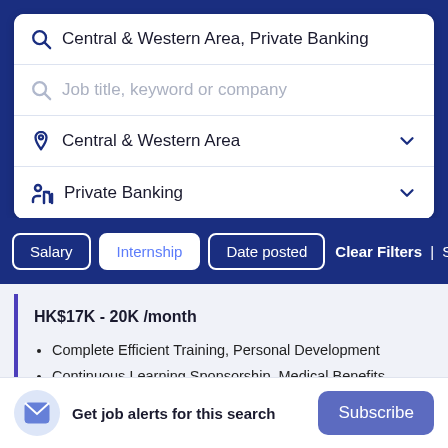Central & Western Area, Private Banking
Job title, keyword or company
Central & Western Area
Private Banking
Salary | Internship | Date posted | Clear Filters | Sort By Rele
HK$17K - 20K /month
Complete Efficient Training, Personal Development
Continuous Learning Sponsorship, Medical Benefits
5 day work, Performance bonus, 20 AL, Bank Holiday
1d ago
Get job alerts for this search
Subscribe